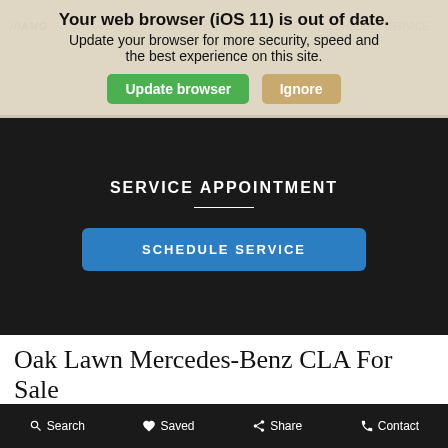Your web browser (iOS 11) is out of date. Update your browser for more security, speed and the best experience on this site. Update browser | Ignore
SERVICE APPOINTMENT
SCHEDULE SERVICE
Oak Lawn Mercedes-Benz CLA For Sale
We always provide excellent customer service and take pride in our reliable vehicles for sale. For instance, the Oak Lawn Mercedes-Benz CLA 250
Search | Saved | Share | Contact